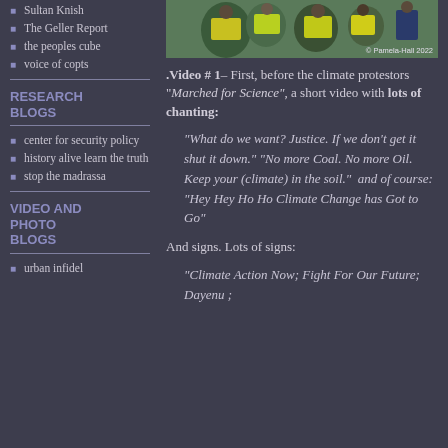[Figure (photo): Photo of climate protestors in high-visibility vests, with copyright credit Pamela-Hall 2022]
Sultan Knish
The Geller Report
the peoples cube
voice of copts
RESEARCH BLOGS
center for security policy
history alive learn the truth
stop the madrassa
VIDEO AND PHOTO BLOGS
urban infidel
.Video # 1– First, before the climate protestors “Marched for Science”, a short video with lots of chanting:
“What do we want? Justice. If we don’t get it shut it down.” “No more Coal. No more Oil. Keep your (climate) in the soil.”  and of course: “Hey Hey Ho Ho Climate Change has Got to Go”
And signs. Lots of signs:
“Climate Action Now; Fight For Our Future; Dayenu ;